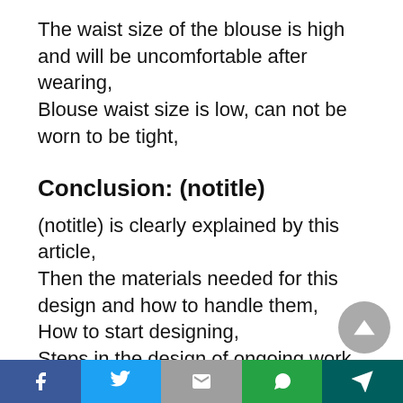The waist size of the blouse is high and will be uncomfortable after wearing,
Blouse waist size is low, can not be worn to be tight,
Conclusion: (notitle)
(notitle) is clearly explained by this article,
Then the materials needed for this design and how to handle them,
How to start designing,
Steps in the design of ongoing work,
How to finish the design,
Tips to look out for in this design
Colors that match the design exactly